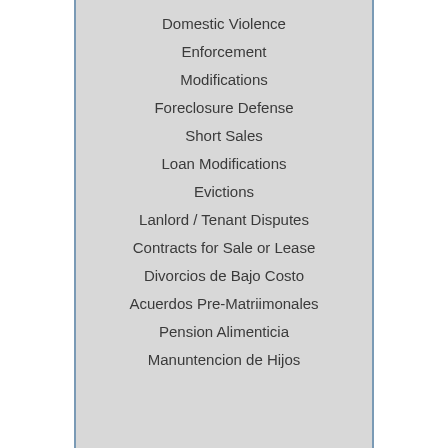Domestic Violence
Enforcement
Modifications
Foreclosure Defense
Short Sales
Loan Modifications
Evictions
Lanlord / Tenant Disputes
Contracts for Sale or Lease
Divorcios de Bajo Costo
Acuerdos Pre-Matriimonales
Pension Alimenticia
Manuntencion de Hijos